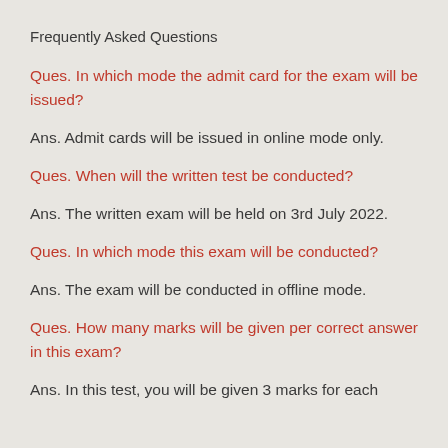Frequently Asked Questions
Ques. In which mode the admit card for the exam will be issued?
Ans. Admit cards will be issued in online mode only.
Ques. When will the written test be conducted?
Ans. The written exam will be held on 3rd July 2022.
Ques. In which mode this exam will be conducted?
Ans. The exam will be conducted in offline mode.
Ques. How many marks will be given per correct answer in this exam?
Ans. In this test, you will be given 3 marks for each